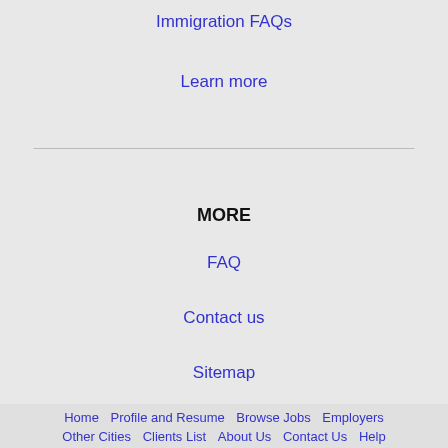Immigration FAQs
Learn more
MORE
FAQ
Contact us
Sitemap
Legal
Privacy
This website uses cookies to ensure you get the best experience on our website.
NEARBY CITIES
Portland, ME Jobs
Email
Home   Profile and Resume   Browse Jobs   Employers   Other Cities   Clients List   About Us   Contact Us   Help